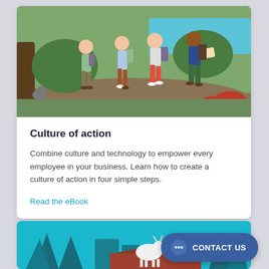[Figure (illustration): Illustration of a group of hikers walking through a forest trail with backpacks, set against a green and brown nature background with a squirrel visible on the left.]
Culture of action
Combine culture and technology to empower every employee in your business. Learn how to create a culture of action in four simple steps.
Read the eBook
[Figure (illustration): Illustration showing a white goat on a rooftop with a teal/cyan background featuring trees and buildings.]